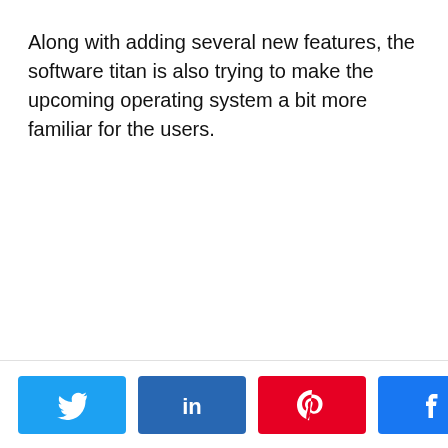Along with adding several new features, the software titan is also trying to make the upcoming operating system a bit more familiar for the users.
[Figure (infographic): Social share bar with Twitter, LinkedIn, Pinterest, and Facebook buttons, plus a share count showing 0 SHARES]